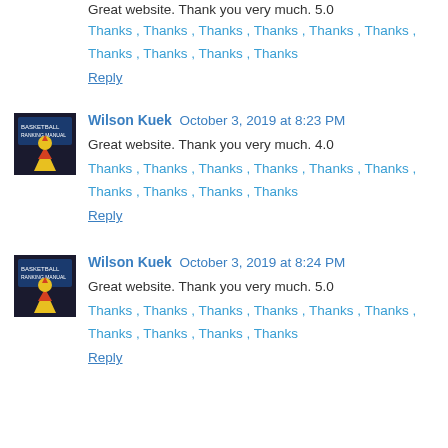Great website. Thank you very much. 5.0
Thanks , Thanks , Thanks , Thanks , Thanks , Thanks , Thanks , Thanks , Thanks , Thanks
Reply
Wilson Kuek October 3, 2019 at 8:23 PM
Great website. Thank you very much. 4.0
Thanks , Thanks , Thanks , Thanks , Thanks , Thanks , Thanks , Thanks , Thanks , Thanks
Reply
Wilson Kuek October 3, 2019 at 8:24 PM
Great website. Thank you very much. 5.0
Thanks , Thanks , Thanks , Thanks , Thanks , Thanks , Thanks , Thanks , Thanks , Thanks
Reply